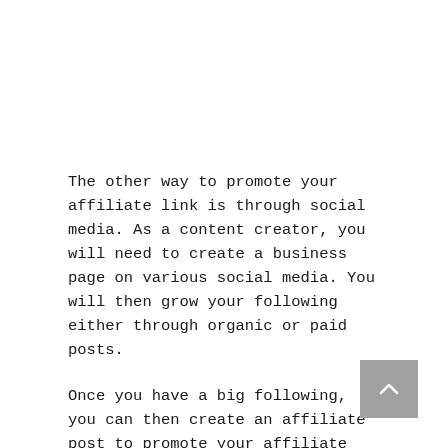The other way to promote your affiliate link is through social media. As a content creator, you will need to create a business page on various social media. You will then grow your following either through organic or paid posts.
Once you have a big following, you can then create an affiliate post to promote your affiliate link.
The Good